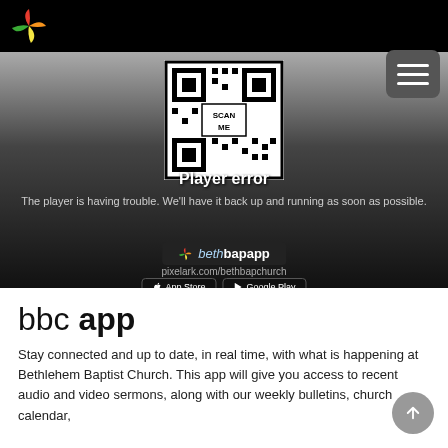[Figure (logo): Colorful pinwheel/flower logo in black header bar]
[Figure (screenshot): Video player area showing a QR code with SCAN ME label, player error message overlay, bethbapapp button, pixelark.com/bethbapchurch URL, and App Store / Google Play buttons]
bbc app
Stay connected and up to date, in real time, with what is happening at Bethlehem Baptist Church. This app will give you access to recent audio and video sermons, along with our weekly bulletins, church calendar,